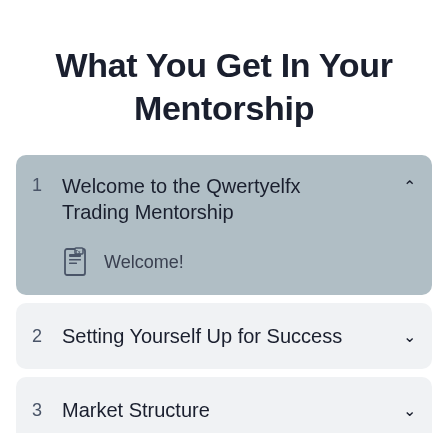What You Get In Your Mentorship
1 Welcome to the Qwertyelfx Trading Mentorship
Welcome!
2 Setting Yourself Up for Success
3 Market Structure